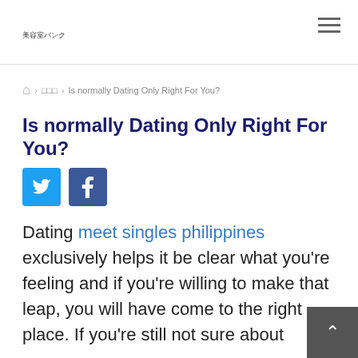美容室バンク
› □□□ › Is normally Dating Only Right For You?
Is normally Dating Only Right For You?
[Figure (other): Twitter and Facebook share buttons]
Dating meet singles philippines exclusively helps it be clear what you're feeling and if you're willing to make that leap, you will have come to the right place. If you're still not sure about